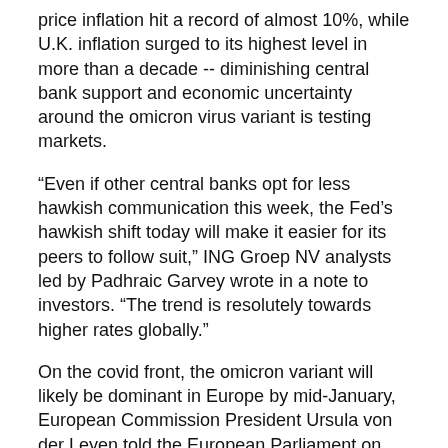price inflation hit a record of almost 10%, while U.K. inflation surged to its highest level in more than a decade -- diminishing central bank support and economic uncertainty around the omicron virus variant is testing markets.
“Even if other central banks opt for less hawkish communication this week, the Fed's hawkish shift today will make it easier for its peers to follow suit,” ING Groep NV analysts led by Padhraic Garvey wrote in a note to investors. “The trend is resolutely towards higher rates globally.”
On the covid front, the omicron variant will likely be dominant in Europe by mid-January, European Commission President Ursula von der Leyen told the European Parliament on Wednesday, adding that the case numbers appear to be doubling every two or three days. Initial lab findings showed the vaccine made by Sinovac Biotech Ltd., one of the most widely used in the world, doesn’t provide sufficient antibodies in two doses to neutralize omicron and boosters will likely be needed to improve protection.
In Euro                                                                    osting its long                                                                   CAC